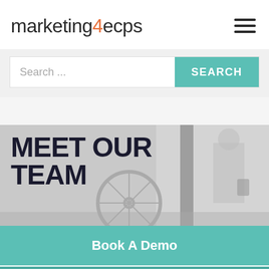marketing4ecps
Search ...
[Figure (screenshot): MEET OUR TEAM hero image with people and bicycle in background]
Book A Demo
Free Website Audit
Login